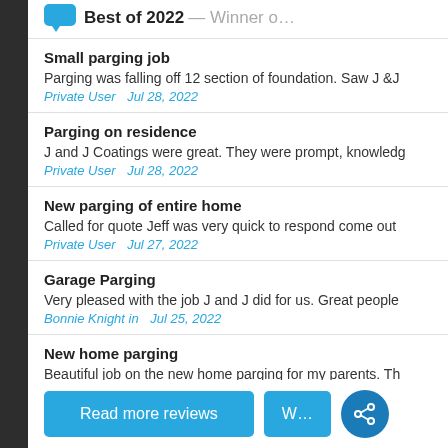Best of 2022 — Winner o…
Small parging job
Parging was falling off 12 section of foundation. Saw J &J
Private User   Jul 28, 2022
Parging on residence
J and J Coatings were great. They were prompt, knowledg
Private User   Jul 28, 2022
New parging of entire home
Called for quote Jeff was very quick to respond come out
Private User   Jul 27, 2022
Garage Parging
Very pleased with the job J and J did for us. Great people
Bonnie Knight in   Jul 25, 2022
New home parging
Beautiful job on the new home parging for my parents. Th
Private User   Jul 24, 2022
Read more reviews
W…
REQUEST A FREE QUOTE